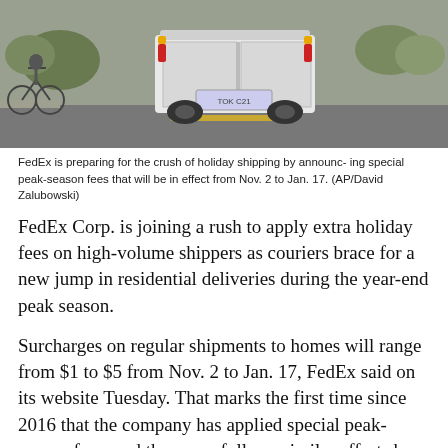[Figure (photo): Rear view of a FedEx delivery truck on a road, with a bicycle visible to the left side.]
FedEx is preparing for the crush of holiday shipping by announc- ing special peak-season fees that will be in effect from Nov. 2 to Jan. 17. (AP/David Zalubowski)
FedEx Corp. is joining a rush to apply extra holiday fees on high-volume shippers as couriers brace for a new jump in residential deliveries during the year-end peak season.
Surcharges on regular shipments to homes will range from $1 to $5 from Nov. 2 to Jan. 17, FedEx said on its website Tuesday. That marks the first time since 2016 that the company has applied special peak-season fees, and the move follows similar efforts by United Parcel Service Inc. and the U.S. Postal Service.
"As the impact of the virus continues to generate a surge in residential deliveries, we are entering this holiday peak season with extremely high demand for capacity and are